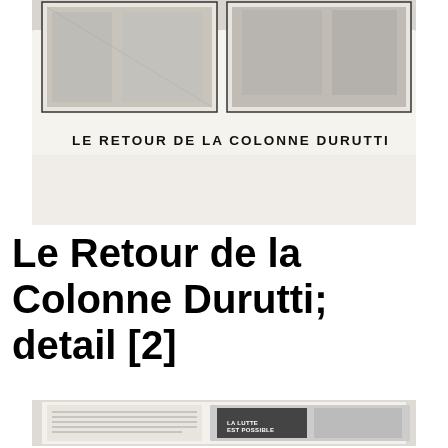[Figure (photo): Photograph of a black and white comic strip / pamphlet titled 'LE RETOUR DE LA COLONNE DURUTTI' showing cartoon panels with figures, displayed on a table against a light background.]
Le Retour de la Colonne Durutti; detail [2]
[Figure (photo): Photograph of an open publication/pamphlet showing pages with text and black and white comic strip images, including text panels and cartoon illustrations, displayed on a flat surface.]